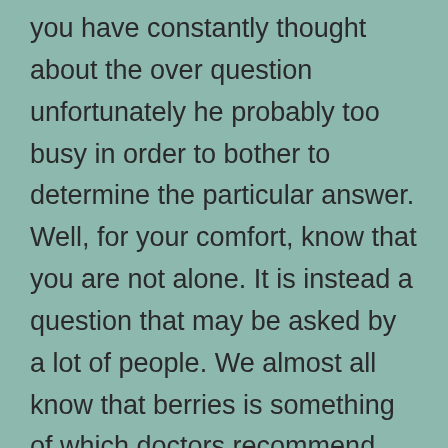you have constantly thought about the over question unfortunately he probably too busy in order to bother to determine the particular answer. Well, for your comfort, know that you are not alone. It is instead a question that may be asked by a lot of people. We almost all know that berries is something of which doctors recommend with regard to us to use on a daily basis and once a person are in a country like Uganda that is full of so much fruits, your choices are endless. Effectively, if it's good for your health, getting it on your own favourite slot will probably entice you to like it more.